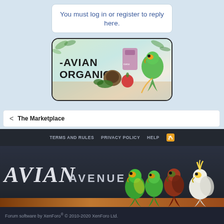You must log in or register to reply here.
[Figure (illustration): Avian Organics advertisement banner showing text 'AVIAN ORGANICS' with parrot, coconut, fruits, and organic products on a light background]
< The Marketplace
TERMS AND RULES  PRIVACY POLICY  HELP  [RSS]
[Figure (illustration): Avian Avenue forum site banner with large italic serif font 'AVIAN AVENUE' and illustrated parrots on a branch on dark background]
Forum software by XenForo® © 2010-2020 XenForo Ltd.